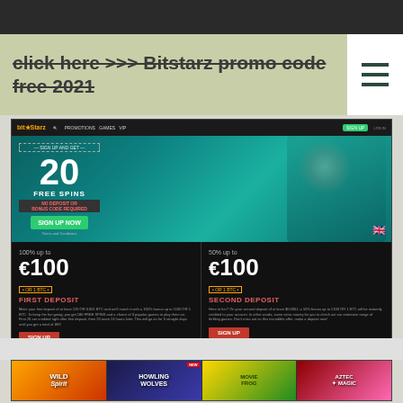click here >>> Bitstarz promo code free 2021
[Figure (screenshot): Bitstarz casino website screenshot showing 20 Free Spins no deposit bonus sign up offer, with heroes/characters on teal background, and deposit bonus section showing 100% up to €100 or 1BTC First Deposit and 50% up to €100 or 1BTC Second Deposit offers]
[Figure (screenshot): Bitstarz casino game thumbnails row showing Wild Spirit, Howling Wolves, Movie Frog, and Aztec Magic slot games]